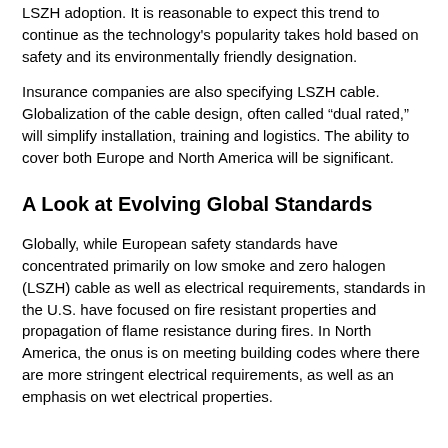LSZH adoption. It is reasonable to expect this trend to continue as the technology's popularity takes hold based on safety and its environmentally friendly designation.
Insurance companies are also specifying LSZH cable. Globalization of the cable design, often called “dual rated,” will simplify installation, training and logistics. The ability to cover both Europe and North America will be significant.
A Look at Evolving Global Standards
Globally, while European safety standards have concentrated primarily on low smoke and zero halogen (LSZH) cable as well as electrical requirements, standards in the U.S. have focused on fire resistant properties and propagation of flame resistance during fires. In North America, the onus is on meeting building codes where there are more stringent electrical requirements, as well as an emphasis on wet electrical properties.